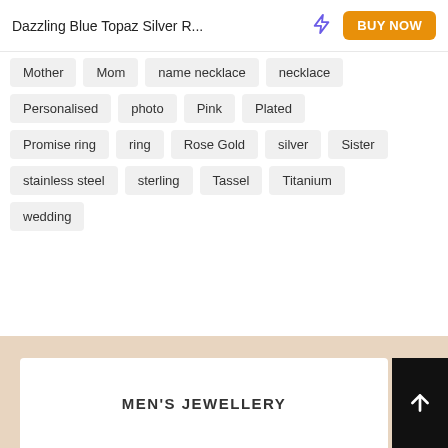Dazzling Blue Topaz Silver R... BUY NOW
Mother
Mom
name necklace
necklace
Personalised
photo
Pink
Plated
Promise ring
ring
Rose Gold
silver
Sister
stainless steel
sterling
Tassel
Titanium
wedding
MEN'S JEWELLERY